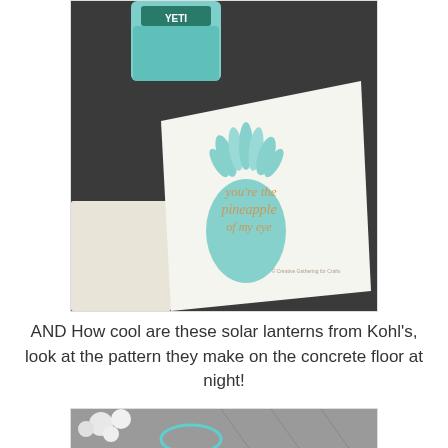[Figure (photo): Photo of a white canvas tile with a teal/mint pineapple silhouette and cursive gold text reading 'you're the pineapple of my eye', next to a YETI tumbler on a dark surface]
AND How cool are these solar lanterns from Kohl's, look at the pattern they make on the concrete floor at night!
[Figure (photo): Partial photo of solar lanterns creating patterns on a concrete floor at night, with flowers visible]